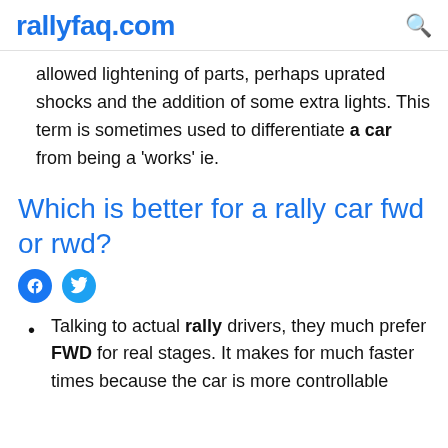rallyfaq.com
allowed lightening of parts, perhaps uprated shocks and the addition of some extra lights. This term is sometimes used to differentiate a car from being a 'works' ie.
Which is better for a rally car fwd or rwd?
Talking to actual rally drivers, they much prefer FWD for real stages. It makes for much faster times because the car is more controllable